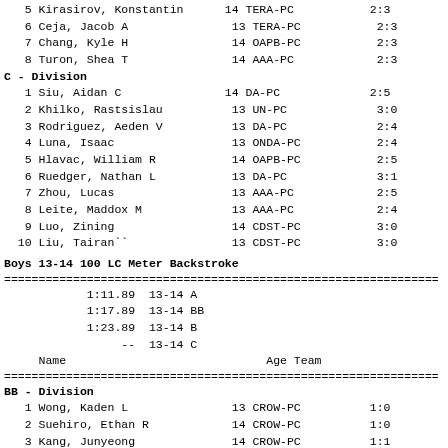| Place | Name | Age | Team | Time |
| --- | --- | --- | --- | --- |
| 5 | Kirasirov, Konstantin | 14 | TERA-PC | 2:3 |
| 6 | Ceja, Jacob A | 13 | TERA-PC | 2:3 |
| 7 | Chang, Kyle H | 14 | OAPB-PC | 2:3 |
| 8 | Turon, Shea T | 14 | AAA-PC | 2:3 |
C - Division
| Place | Name | Age | Team | Time |
| --- | --- | --- | --- | --- |
| 1 | Siu, Aidan C | 14 | DA-PC | 2:5 |
| 2 | Khilko, Rastsislau | 13 | UN-PC | 3:0 |
| 3 | Rodriguez, Aeden V | 13 | DA-PC | 2:4 |
| 4 | Luna, Isaac | 13 | ONDA-PC | 2:4 |
| 5 | Hlavac, William R | 14 | OAPB-PC | 2:5 |
| 6 | Ruedger, Nathan L | 13 | DA-PC | 3:1 |
| 7 | Zhou, Lucas | 13 | AAA-PC | 2:5 |
| 8 | Leite, Maddox M | 13 | AAA-PC | 2:4 |
| 9 | Luo, Zining | 14 | CDST-PC | 3:0 |
| 10 | Liu, Tairan`` | 13 | CDST-PC | 3:0 |
Boys 13-14 100 LC Meter Backstroke
| Time | Age Group | Division |
| --- | --- | --- |
| 1:11.89 | 13-14 | A |
| 1:17.89 | 13-14 | BB |
| 1:23.89 | 13-14 | B |
| -- | 13-14 | C |
| Name | Age | Team | Time |
| --- | --- | --- | --- |
| Wong, Kaden L | 13 | CROW-PC | 1:0 |
| Suehiro, Ethan R | 14 | CROW-PC | 1:0 |
| Kang, Junyeong | 14 | CROW-PC | 1:1 |
| Stilinovich, Kyle A | 14 | TERA-PC | 1:0 |
| Feng, Eason | 14 | OAPB-PC | 1:1 |